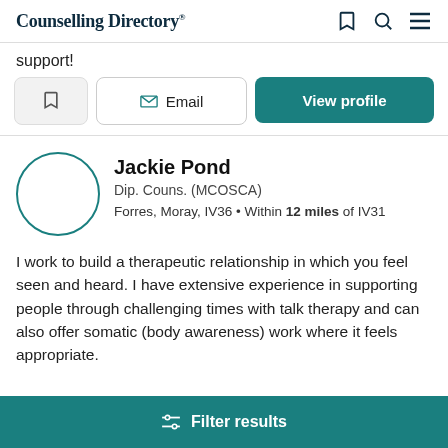Counselling Directory
support!
Email | View profile
Jackie Pond
Dip. Couns. (MCOSCA)
Forres, Moray, IV36 • Within 12 miles of IV31
I work to build a therapeutic relationship in which you feel seen and heard. I have extensive experience in supporting people through challenging times with talk therapy and can also offer somatic (body awareness) work where it feels appropriate.
Filter results